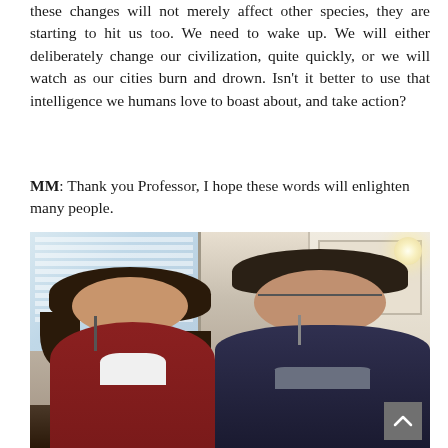these changes will not merely affect other species, they are starting to hit us too. We need to wake up. We will either deliberately change our civilization, quite quickly, or we will watch as our cities burn and drown. Isn't it better to use that intelligence we humans love to boast about, and take action?
MM: Thank you Professor, I hope these words will enlighten many people.
[Figure (photo): Two people standing together and smiling. A young woman with curly dark hair wearing a dark red/maroon top with a white collar and a lanyard, and a man with curly dark hair wearing glasses and a dark jacket with a lanyard, posing indoors in front of windows and a door.]